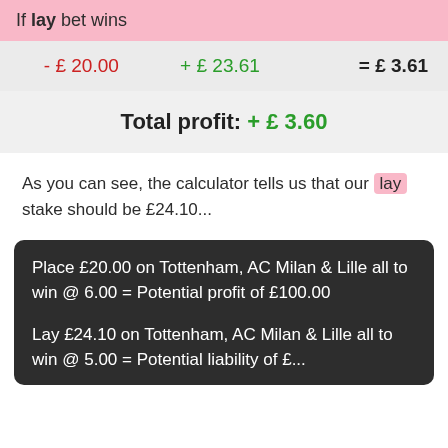If lay bet wins
| -£ 20.00 | +£ 23.61 | = £ 3.61 |
Total profit: + £ 3.60
As you can see, the calculator tells us that our lay stake should be £24.10...
Place £20.00 on Tottenham, AC Milan & Lille all to win @ 6.00 = Potential profit of £100.00
Lay £24.10 on Tottenham, AC Milan & Lille all to win @ 5.00 = Potential liability of £...